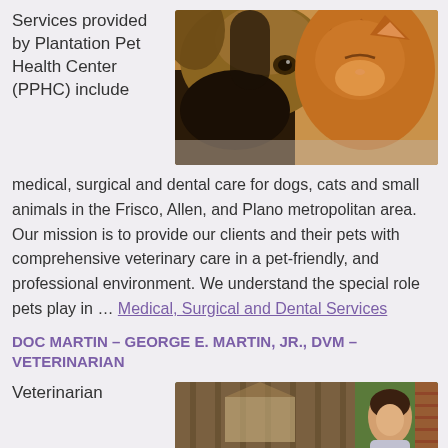Services provided by Plantation Pet Health Center (PPHC) include
[Figure (photo): Close-up photo of a German Shepherd dog and an orange tabby cat lying together, looking at the camera]
medical, surgical and dental care for dogs, cats and small animals in the Frisco, Allen, and Plano metropolitan area. Our mission is to provide our clients and their pets with comprehensive veterinary care in a pet-friendly, and professional environment. We understand the special role pets play in ... Medical, Surgical and Dental Services
DOC MARTIN – GEORGE E. MARTIN, JR., DVM – VETERINARIAN
Veterinarian
[Figure (photo): Photo of a person outdoors near a wooden structure, partially visible]